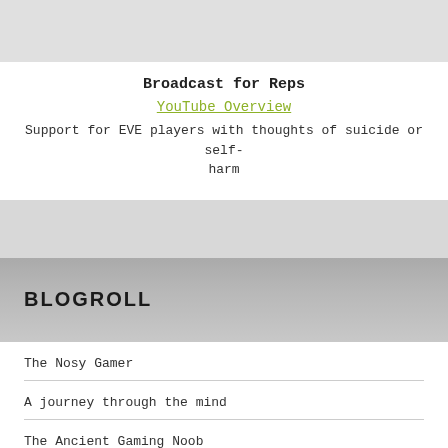Broadcast for Reps
YouTube Overview
Support for EVE players with thoughts of suicide or self-harm
BLOGROLL
The Nosy Gamer
A journey through the mind
The Ancient Gaming Noob
Absence of Substance